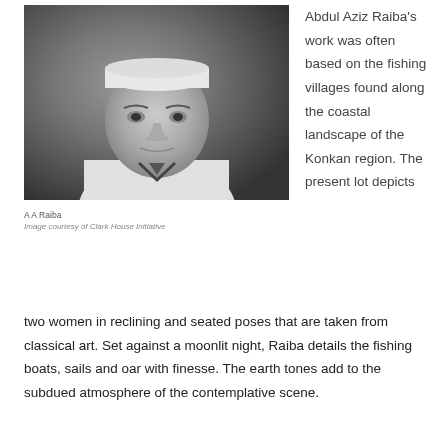[Figure (photo): Black and white portrait photograph of A A Raiba, an elderly man wearing a white cap and white shirt, seated against a background of artwork.]
A A Raiba
Image courtesy of Clark House Initiative
Abdul Aziz Raiba's work was often based on the fishing villages found along the coastal landscape of the Konkan region. The present lot depicts two women in reclining and seated poses that are taken from classical art. Set against a moonlit night, Raiba details the fishing boats, sails and oar with finesse. The earth tones add to the subdued atmosphere of the contemplative scene.